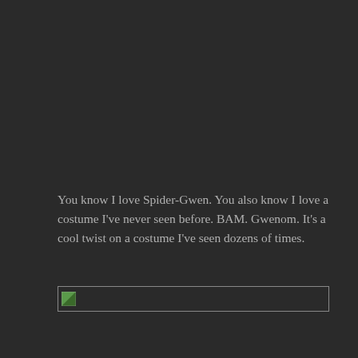You know I love Spider-Gwen. You also know I love a costume I've never seen before. BAM. Gwenom. It's a cool twist on a costume I've seen dozens of times.
[Figure (other): Broken/missing image placeholder — a small icon with a border spanning the width of the content column]